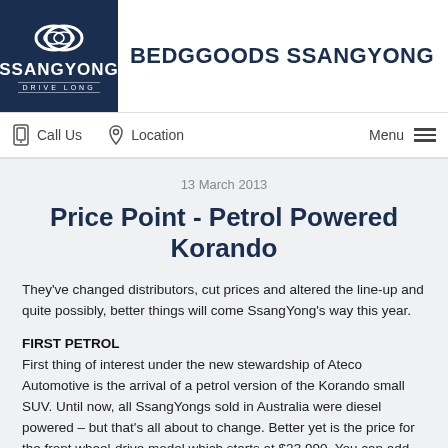[Figure (logo): SsangYong Drive Long logo in dark navy box on left; dealer name BEDGGOODS SSANGYONG on right]
Call Us   Location   Menu
13 March 2013
Price Point - Petrol Powered Korando
They've changed distributors, cut prices and altered the line-up and quite possibly, better things will come SsangYong's way this year.
FIRST PETROL
First thing of interest under the new stewardship of Ateco Automotive is the arrival of a petrol version of the Korando small SUV. Until now, all SsangYongs sold in Australia were diesel powered – but that's all about to change. Better yet is the price for the front wheel-drive model which starts at $23,990. You can add two grand for the six speed auto that we took for a quick spin this week. There's no all-wheel-drive petrol model but most people don't want or need all-wheel-drive anyway, preferring instead the